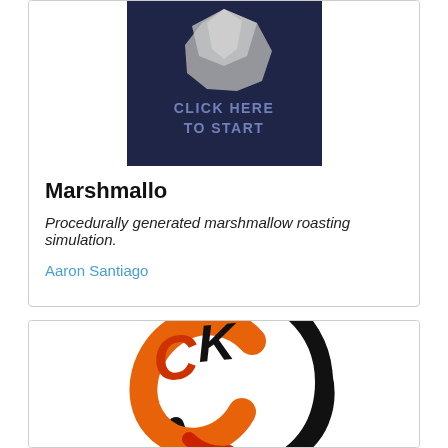[Figure (screenshot): Dark blue thumbnail image with a marshmallow shape and text 'CLICK HERE TO START']
Marshmallo
Procedurally generated marshmallow roasting simulation.
Aaron Santiago
[Figure (logo): CK logo with stylized orange and red letters 'CK' and a black circular swoosh design]